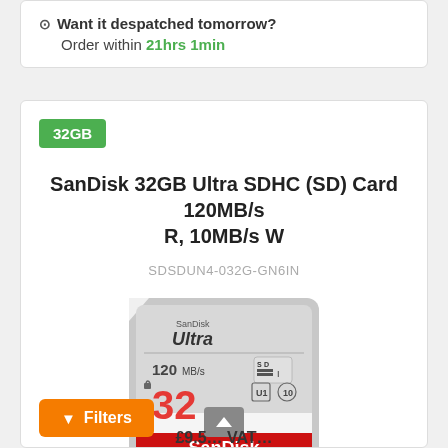⊙ Want it despatched tomorrow? Order within 21hrs 1min
32GB
SanDisk 32GB Ultra SDHC (SD) Card 120MB/s R, 10MB/s W
SDSDUN4-032G-GN6IN
[Figure (photo): SanDisk Ultra 32GB SD card product photo showing the front of the card with SanDisk Ultra branding, 120 MB/s speed rating, 32GB capacity in red text, SD logo, UHS-I Class 10 symbols, and red SanDisk banner at the bottom]
Filters